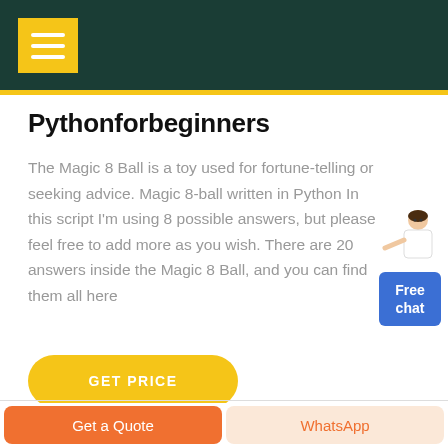Pythonforbeginners
The Magic 8 Ball is a toy used for fortune-telling or seeking advice. Magic 8-ball written in Python In this script I'm using 8 possible answers, but please feel free to add more as you wish. There are 20 answers inside the Magic 8 Ball, and you can find them all here
[Figure (illustration): Free chat widget with a person illustration and blue button labeled 'Free chat']
GET PRICE
Get a Quote
WhatsApp